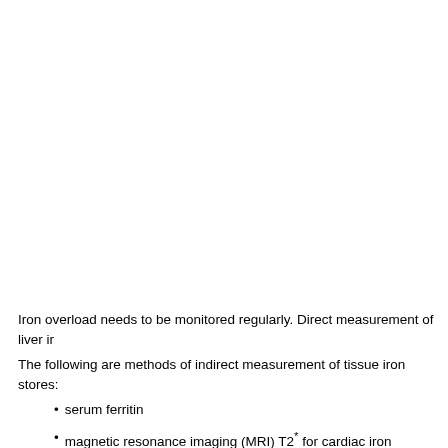Iron overload needs to be monitored regularly. Direct measurement of liver ir
The following are methods of indirect measurement of tissue iron stores:
serum ferritin
magnetic resonance imaging (MRI) T2* for cardiac iron assessment